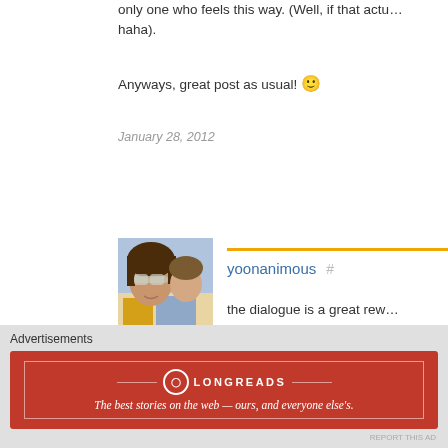only one who feels this way. (Well, if that actu… haha).
Anyways, great post as usual! 🙂
January 28, 2012
[Figure (photo): Avatar photo of user yoonanimous, a woman with sunglasses and a child]
yoonanimous  #
the dialogue is a great rew… agreeing with you. i love th… janice!
January 29, 2012
Advertisements
[Figure (screenshot): Longreads advertisement banner: The best stories on the web — ours, and everyone else's.]